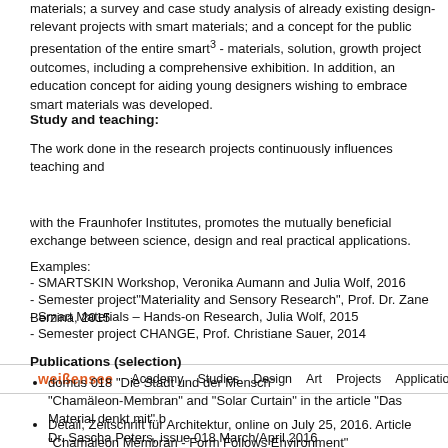materials; a survey and case study analysis of already existing design-relevant projects with smart materials; and a concept for the public presentation of the entire smart³ - materials, solution, growth project outcomes, including a comprehensive exhibition. In addition, an education concept for aiding young designers wishing to embrace smart materials was developed.
Study and teaching:
The work done in the research projects continuously influences teaching and
[Figure (screenshot): Website navigation bar of weißensee academy showing logo in orange and nav links: Academy Studies Design Art Projects Applications]
with the Fraunhofer Institutes, promotes the mutually beneficial exchange between science, design and real practical applications.
Examples:
- SMARTSKIN Workshop, Veronika Aumann and Julia Wolf, 2016
- Semester project"Materiality and Sensory Research", Prof. Dr. Zane Berzina, 2015
- Smart Materials – Hands-on Research, Julia Wolf, 2015
- Semester project CHANGE, Prof. Christiane Sauer, 2014
Publications (selection)
domus 018 "Die Stadt und der Mensch" "Chamäleon-Membran" and "Solar Curtain" in the article "Das Material denkt mit" by Dr. Sascha Peters, issue 018 March/April 2016
Detail, Zeitschrift für Architektur, online on July 25, 2016. Article "Chamäleon Membran - Form Follows Environment"